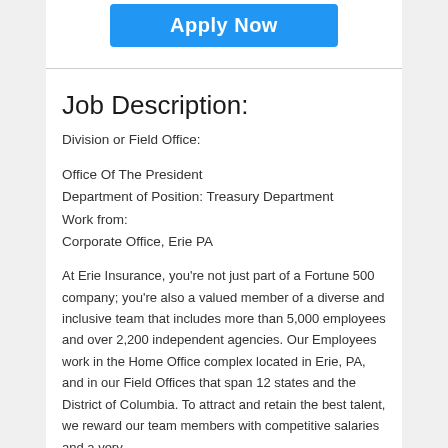[Figure (other): Blue 'Apply Now' button]
Job Description:
Division or Field Office:
Office Of The President
Department of Position: Treasury Department
Work from:
Corporate Office, Erie PA
At Erie Insurance, you're not just part of a Fortune 500 company; you're also a valued member of a diverse and inclusive team that includes more than 5,000 employees and over 2,200 independent agencies. Our Employees work in the Home Office complex located in Erie, PA, and in our Field Offices that span 12 states and the District of Columbia. To attract and retain the best talent, we reward our team members with competitive salaries and a very